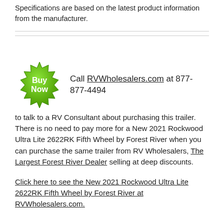Specifications are based on the latest product information from the manufacturer.
[Figure (logo): Green starburst 'Buy Now' badge]
Call RVWholesalers.com at 877-877-4494 to talk to a RV Consultant about purchasing this trailer. There is no need to pay more for a New 2021 Rockwood Ultra Lite 2622RK Fifth Wheel by Forest River when you can purchase the same trailer from RV Wholesalers, The Largest Forest River Dealer selling at deep discounts.
Click here to see the New 2021 Rockwood Ultra Lite 2622RK Fifth Wheel by Forest River at RVWholesalers.com.